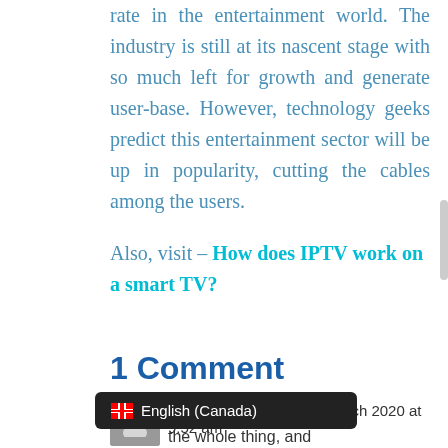rate in the entertainment world. The industry is still at its nascent stage with so much left for growth and generate user-base. However, technology geeks predict this entertainment sector will be up in popularity, cutting the cables among the users.
Also, visit – How does IPTV work on a smart TV?
1 Comment
cbd for athletes on 30 March 2020 at 9:52 am
the whole thing, and